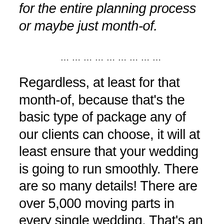for the entire planning process or maybe just month-of.
………………………
Regardless, at least for that month-of, because that's the basic type of package any of our clients can choose, it will at least ensure that your wedding is going to run smoothly. There are so many details! There are over 5,000 moving parts in every single wedding. That's an enormous amount of details that, as someone who is also getting married that day, doesn't have time or the capacity. It's about enjoying your wedding; not